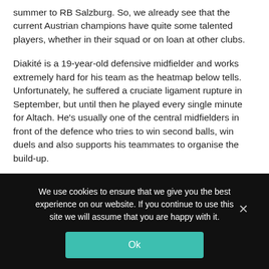summer to RB Salzburg. So, we already see that the current Austrian champions have quite some talented players, whether in their squad or on loan at other clubs.
Diakité is a 19-year-old defensive midfielder and works extremely hard for his team as the heatmap below tells. Unfortunately, he suffered a cruciate ligament rupture in September, but until then he played every single minute for Altach. He's usually one of the central midfielders in front of the defence who tries to win second balls, win duels and also supports his teammates to organise the build-up.
We use cookies to ensure that we give you the best experience on our website. If you continue to use this site we will assume that you are happy with it.